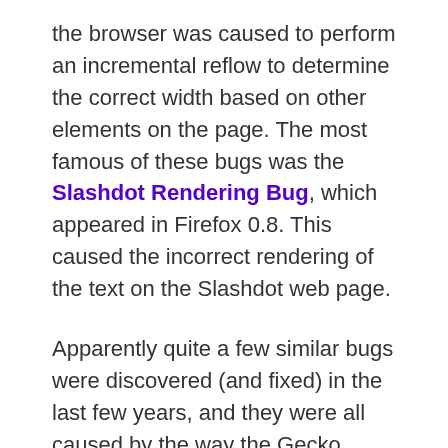the browser was caused to perform an incremental reflow to determine the correct width based on other elements on the page. The most famous of these bugs was the Slashdot Rendering Bug, which appeared in Firefox 0.8. This caused the incorrect rendering of the text on the Slashdot web page.
Apparently quite a few similar bugs were discovered (and fixed) in the last few years, and they were all caused by the way the Gecko engine performed incremental reflows. For a more detailed explanation of the situation, refer to the reflow refactoring page of Mozilla wiki. It's quite